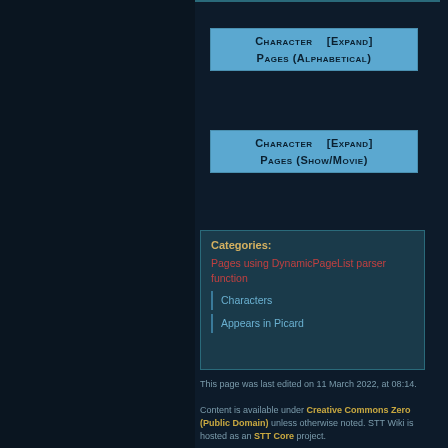Character Pages (Alphabetical) [Expand]
Character Pages (Show/Movie) [Expand]
Categories: Pages using DynamicPageList parser function | Characters | Appears in Picard
This page was last edited on 11 March 2022, at 08:14.
Content is available under Creative Commons Zero (Public Domain) unless otherwise noted. STT Wiki is hosted as an STT Core project.